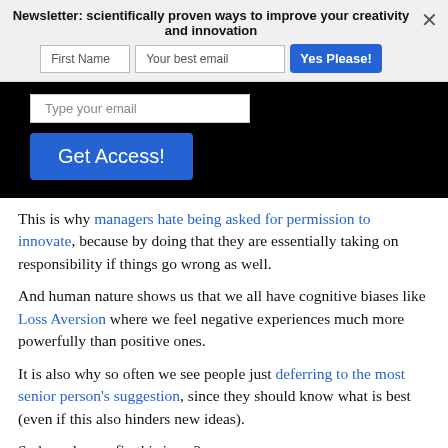Newsletter: scientifically proven ways to improve your creativity and innovation
[Figure (screenshot): Newsletter signup bar with First Name and email input fields and a blue 'Yes Please!' button, and a close X button, overlaying a black background area showing a 'Type your email' input and a blue 'Get Access!' button]
This is why managers hate being asked for permission to innovate, because by doing that they are essentially taking on responsibility if things go wrong as well.
And human nature shows us that we all have cognitive biases like Loss Aversion where we feel negative experiences much more powerfully than positive ones.
It is also why so often we see people just deferring to the most senior person's suggestion, since they should know what is best (even if this also hinders new ideas).
So how do you fix this issue?